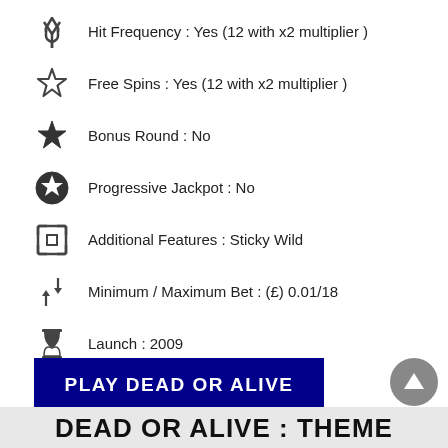Hit Frequency : Yes (12 with x2 multiplier )
Free Spins : Yes (12 with x2 multiplier )
Bonus Round : No
Progressive Jackpot : No
Additional Features : Sticky Wild
Minimum / Maximum Bet : (£) 0.01/18
Launch : 2009
PLAY DEAD OR ALIVE
DEAD OR ALIVE : THEME